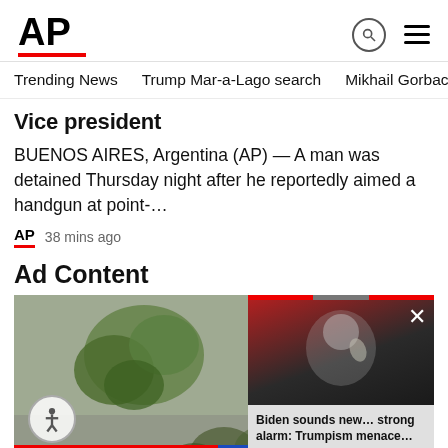AP
Trending News   Trump Mar-a-Lago search   Mikhail Gorbachev d
Vice president
BUENOS AIRES, Argentina (AP) — A man was detained Thursday night after he reportedly aimed a handgun at point-…
AP  38 mins ago
Ad Content
[Figure (photo): Advertisement split image showing plants labeled WEED OR, with an overlaid video thumbnail showing Biden with caption: Biden sounds new... strong alarm: Trumpism menace...]